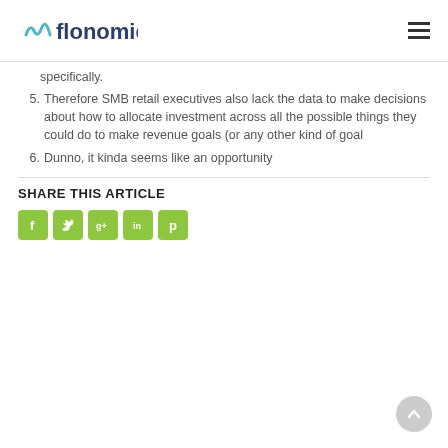flonomics
specifically.
5. Therefore SMB retail executives also lack the data to make decisions about how to allocate investment across all the possible things they could do to make revenue goals (or any other kind of goal
6. Dunno, it kinda seems like an opportunity
SHARE THIS ARTICLE
[Figure (infographic): Social media share icons: Facebook, Twitter, Google+, LinkedIn, Pinterest — all green rounded square buttons]